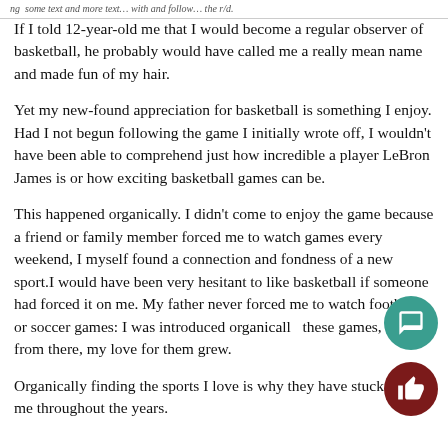ng… [partial header text cut off] …the r/d.
If I told 12-year-old me that I would become a regular observer of basketball, he probably would have called me a really mean name and made fun of my hair.
Yet my new-found appreciation for basketball is something I enjoy. Had I not begun following the game I initially wrote off, I wouldn't have been able to comprehend just how incredible a player LeBron James is or how exciting basketball games can be.
This happened organically. I didn't come to enjoy the game because a friend or family member forced me to watch games every weekend, I myself found a connection and fondness of a new sport.I would have been very hesitant to like basketball if someone had forced it on me. My father never forced me to watch football or soccer games: I was introduced organically these games, and from there, my love for them grew.
Organically finding the sports I love is why they have stuck me throughout the years.